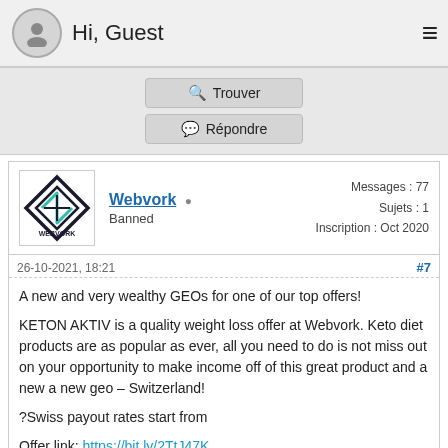Hi, Guest
Trouver
Répondre
Webvork • Banned | Messages : 77 | Sujets : 1 | Inscription : Oct 2020
26-10-2021, 18:21  #7
A new and very wealthy GEOs for one of our top offers!

KETON AKTIV is a quality weight loss offer at Webvork. Keto diet products are as popular as ever, all you need to do is not miss out on your opportunity to make income off of this great product and a new a new geo – Switzerland!

?Swiss payout rates start from

Offer link: https://bit.ly/2TtJ47K